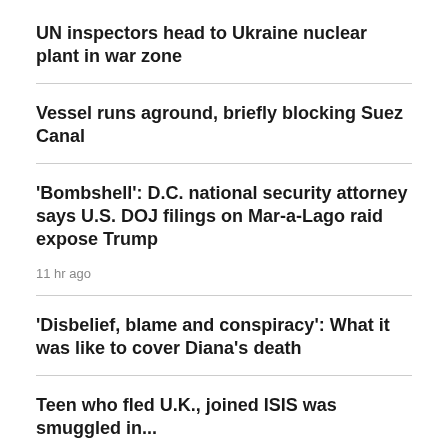UN inspectors head to Ukraine nuclear plant in war zone
Vessel runs aground, briefly blocking Suez Canal
'Bombshell': D.C. national security attorney says U.S. DOJ filings on Mar-a-Lago raid expose Trump
11 hr ago
'Disbelief, blame and conspiracy': What it was like to cover Diana's death
Teen who fled U.K., joined ISIS was smuggled in...